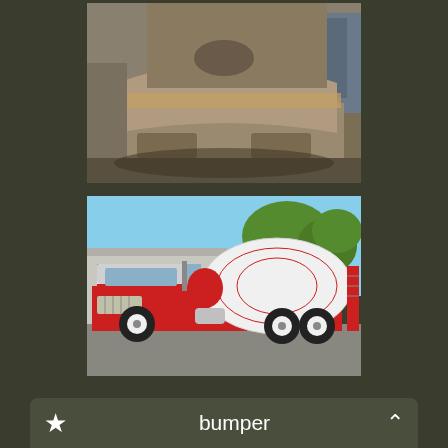[Figure (photo): Close-up of a damaged large truck bumper/front fascia in a repair shop, showing rust and unpainted metal with a white cloth nearby]
[Figure (photo): Red and white Kenworth cement mixer truck parked in front of a building with trees in the background, fully restored and clean]
bumper